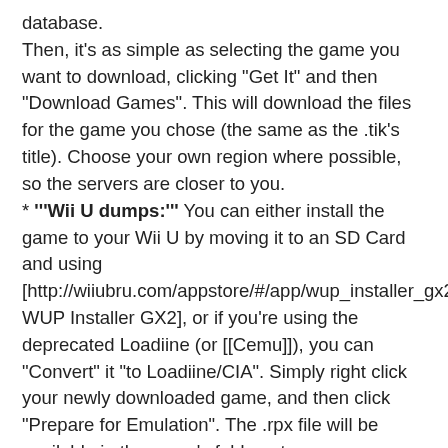database.
Then, it's as simple as selecting the game you want to download, clicking "Get It" and then "Download Games". This will download the files for the game you chose (the same as the .tik's title). Choose your own region where possible, so the servers are closer to you.
* '''Wii U dumps:''' You can either install the game to your Wii U by moving it to an SD Card and using [http://wiiubru.com/appstore/#/app/wup_installer_gx2 WUP Installer GX2], or if you're using the deprecated Loadiine (or [[Cemu]]), you can "Convert" it "to Loadiine/CIA". Simply right click your newly downloaded game, and then click "Prepare for Emulation". The .rpx file will be available in the game's folder, at /code/[yourgame].rpx.
* '''3DS dumps:''' Just "Convert to CIA" when the tool is done downloading it. That CIA file can then be installed to real 3DS hardware directly using [https://github.com/Steveice10/FBI/releases FBI], as long as you have enough free space on your SD card for '''double''' its size (CIA files are installers basically, unless you can of course